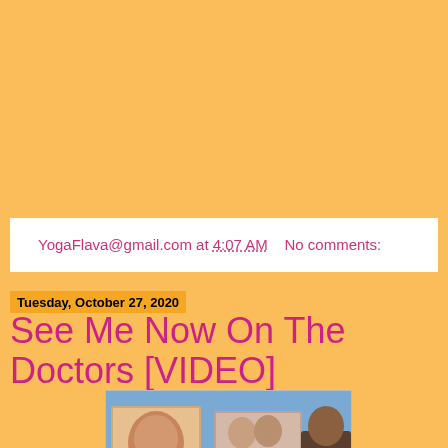YogaFlava@gmail.com at 4:07 AM    No comments:
Tuesday, October 27, 2020
See Me Now On The Doctors [VIDEO]
[Figure (photo): A TV studio scene showing multiple video screens with people appearing on them, and a person seated at a desk in the foreground.]